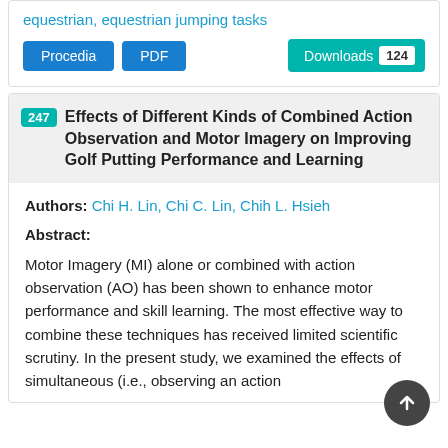equestrian, equestrian jumping tasks
Procedia | PDF | Downloads 124
247 Effects of Different Kinds of Combined Action Observation and Motor Imagery on Improving Golf Putting Performance and Learning
Authors: Chi H. Lin, Chi C. Lin, Chih L. Hsieh
Abstract:
Motor Imagery (MI) alone or combined with action observation (AO) has been shown to enhance motor performance and skill learning. The most effective way to combine these techniques has received limited scientific scrutiny. In the present study, we examined the effects of simultaneous (i.e., observing an action